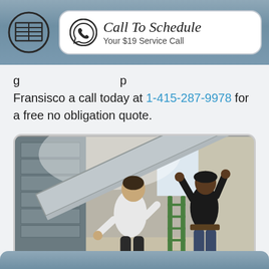[Figure (logo): Garage door service company logo with garage door icon and 'Call To Schedule Your $19 Service Call' banner with WhatsApp phone icon]
Fransisco a call today at 1-415-287-9978 for a free no obligation quote.
[Figure (photo): Two workers installing a garage door panel, one in white shirt on the left, one in dark shirt on the right reaching up, with a ladder and window visible]